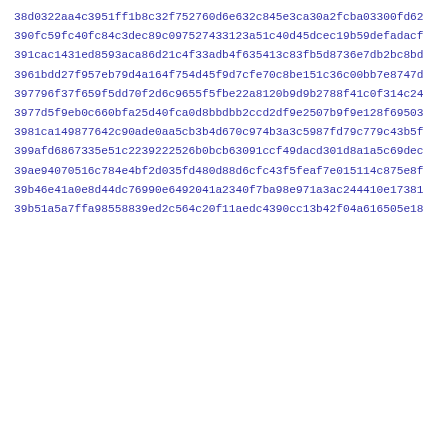38d0322aa4c3951ff1b8c32f752760d6e632c845e3ca30a2fcba03300fd62
390fc59fc40fc84c3dec89c097527433123a51c40d45dcec19b59defadacf
391cac1431ed8593aca86d21c4f33adb4f635413c83fb5d8736e7db2bc8bd
3961bdd27f957eb79d4a164f754d45f9d7cfe70c8be151c36c00bb7e8747d
397796f37f659f5dd70f2d6c9655f5fbe22a8120b9d9b2788f41c0f314c24
3977d5f9eb0c660bfa25d40fca0d8bbdbb2ccd2df9e2507b9f9e128f69503
3981ca149877642c90ade0aa5cb3b4d670c974b3a3c5987fd79c779c43b5f
399afd6867335e51c2239222526b0bcb63091ccf49dacd301d8a1a5c69dec
39ae94070516c784e4bf2d035fd480d88d6cfc43f5feaf7e015114c875e8f
39b46e41a0e8d44dc76990e6492041a2340f7ba98e971a3ac244410e17381
39b51a5a7ffa98558839ed2c564c20f11aedc4390cc13b42f04a616505e18